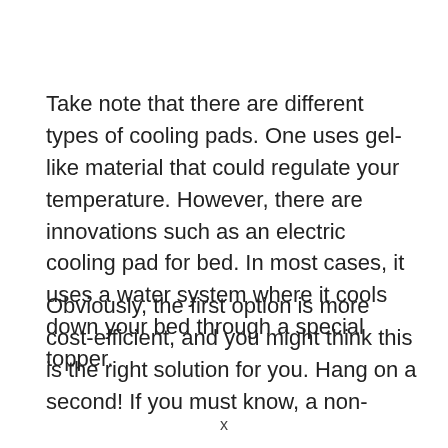Take note that there are different types of cooling pads. One uses gel-like material that could regulate your temperature. However, there are innovations such as an electric cooling pad for bed. In most cases, it uses a water system where it cools down your bed through a special topper.
Obviously, the first option is more cost-efficient, and you might think this is the right solution for you. Hang on a second! If you must know, a non-
x